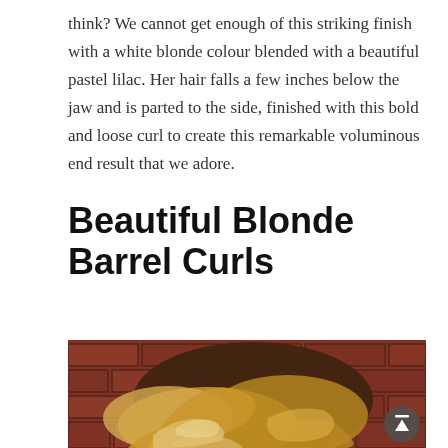think? We cannot get enough of this striking finish with a white blonde colour blended with a beautiful pastel lilac. Her hair falls a few inches below the jaw and is parted to the side, finished with this bold and loose curl to create this remarkable voluminous end result that we adore.
Beautiful Blonde Barrel Curls
[Figure (photo): Close-up photo of a woman with blonde barrel curls, taken from above/behind, against a dark red brick wall background. Hair shows ombre coloring from dark roots to golden blonde ends with loose wavy curls.]